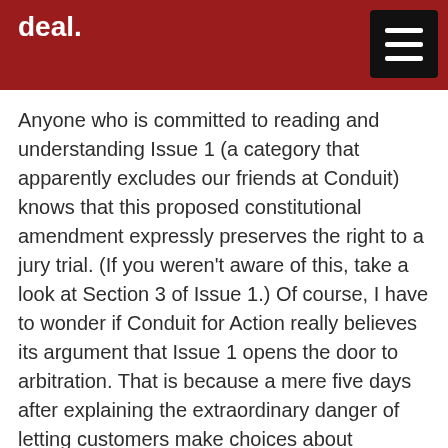deal.
Anyone who is committed to reading and understanding Issue 1 (a category that apparently excludes our friends at Conduit) knows that this proposed constitutional amendment expressly preserves the right to a jury trial. (If you weren't aware of this, take a look at Section 3 of Issue 1.) Of course, I have to wonder if Conduit for Action really believes its argument that Issue 1 opens the door to arbitration. That is because a mere five days after explaining the extraordinary danger of letting customers make choices about arbitration agreements, it then leveled a contradictory charge against Issue 1: “Issue 1 limits the ability of both clients and attorneys to have freedom to contract.”